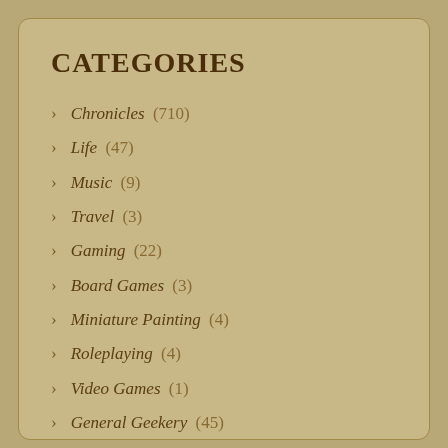CATEGORIES
Chronicles (710)
Life (47)
Music (9)
Travel (3)
Gaming (22)
Board Games (3)
Miniature Painting (4)
Roleplaying (4)
Video Games (1)
General Geekery (45)
Website Update (1)